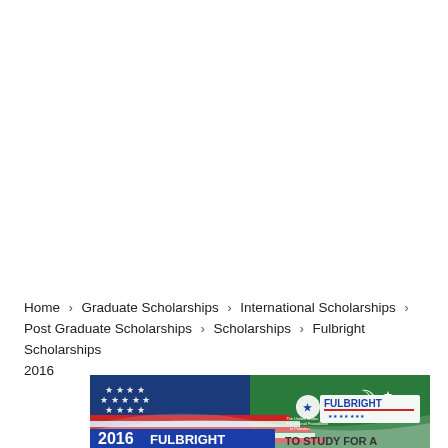Home › Graduate Scholarships › International Scholarships › Post Graduate Scholarships › Scholarships › Fulbright Scholarships 2016
[Figure (illustration): Fulbright Scholarships 2016 banner showing combined US and Pakistani flags with Fulbright logo and text '2016 FULBRIGHT ... TO STUDY FOR A']